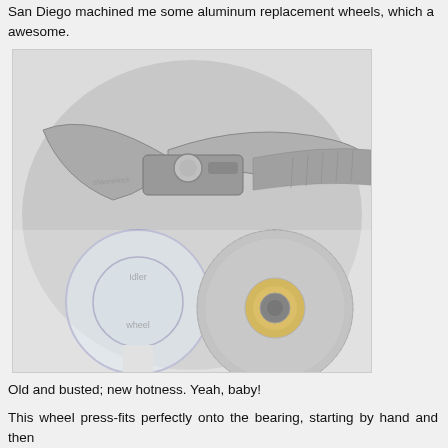San Diego machined me some aluminum replacement wheels, which are awesome.
[Figure (photo): Photo showing pliers/channellock tool at top, and below it a clear plastic idler wheel (labeled 'idler wheel') next to a new aluminum knurled wheel with a gold/yellow bearing installed in the center.]
Old and busted; new hotness. Yeah, baby!
This wheel press-fits perfectly onto the bearing, starting by hand and then pressing heavily on it on a countertop. It's thicker than the original wheel, making alignment with the drive pulley less important. It even has a knurled showoffs!